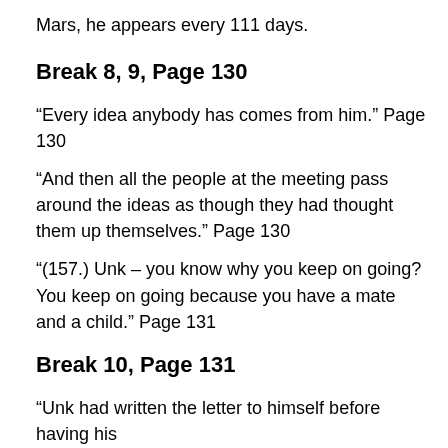Mars, he appears every 111 days.
Break 8, 9, Page 130
“Every idea anybody has comes from him.” Page 130
“And then all the people at the meeting pass around the ideas as though they had thought them up themselves.” Page 130
“(157.) Unk – you know why you keep on going? You keep on going because you have a mate and a child.” Page 131
Break 10, Page 131
“Unk had written the letter to himself before having his